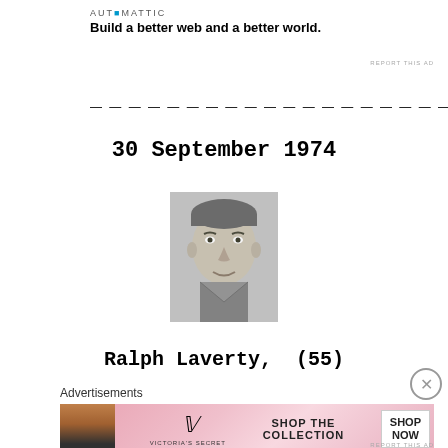AUTOMATTIC
Build a better web and a better world.
REPORT THIS AD
30 September 1974
[Figure (photo): Black and white grainy photograph of a man's face, middle-aged, short hair]
Ralph Laverty,  (55)
Advertisements
[Figure (other): Victoria's Secret advertisement banner: model photo, VS logo, 'SHOP THE COLLECTION', 'SHOP NOW' button]
REPORT THIS AD